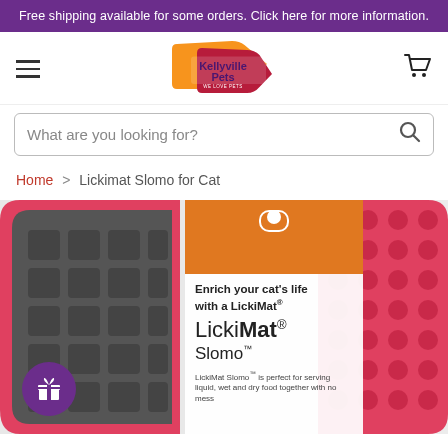Free shipping available for some orders. Click here for more information.
[Figure (logo): Kellyville Pets logo — orange and red tag shape with purple text 'Kellyville Pets' and tagline 'WE LOVE PETS']
What are you looking for?
Home > Lickimat Slomo for Cat
[Figure (photo): Product photo: LickiMat Slomo for Cat — a pink/red silicone mat with bubble and grid texture, shown in orange cardboard packaging. Text on package reads: 'Enrich your cat's life with a LickiMat®', 'LickiMat® Slomo™', 'LickiMat Slomo™ is perfect for serving liquid, wet and dry food together with no mess'. A purple circle with gift icon is in the bottom-left corner.]